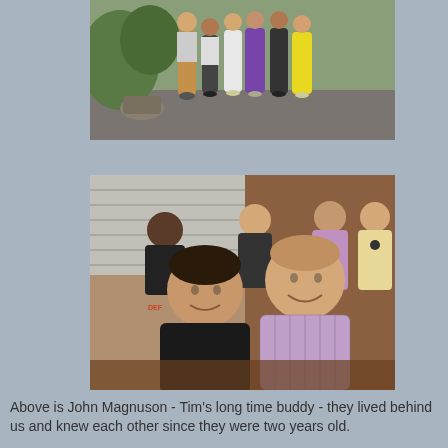[Figure (photo): Group photo of several people standing outdoors, with greenery in the background. A woman in a purple dress and a woman in a yellow dress are visible among the group.]
[Figure (photo): Indoor restaurant photo showing two smiling men in the foreground, with other people seated in the background near wooden walls.]
Above is John Magnuson - Tim's long time buddy - they lived behind us and knew each other since they were two years old.